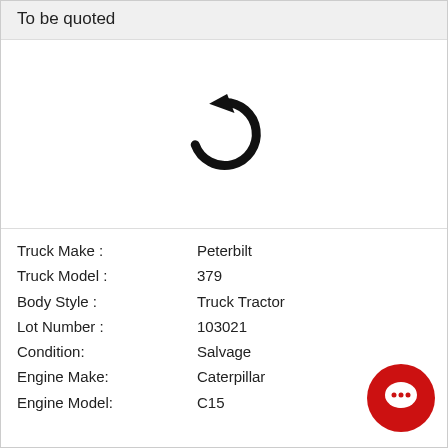To be quoted
[Figure (illustration): Circular reload/refresh arrow icon in black]
Truck Make : Peterbilt
Truck Model : 379
Body Style : Truck Tractor
Lot Number : 103021
Condition: Salvage
Engine Make: Caterpillar
Engine Model: C15
[Figure (illustration): Red circular chat/comment button icon in bottom right corner]